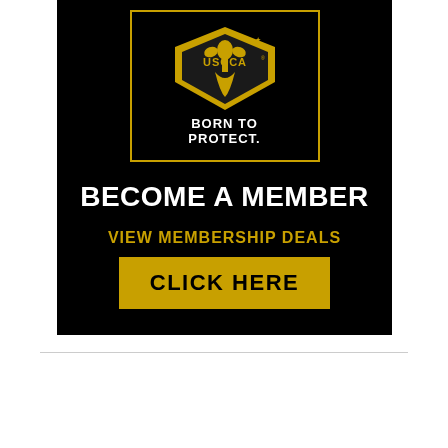[Figure (logo): USCCA advertisement banner on black background. Contains USCCA logo (gold fleur-de-lis / shield emblem) with text 'BORN TO PROTECT.', then 'BECOME A MEMBER', 'VIEW MEMBERSHIP DEALS', and a gold 'CLICK HERE' button with gold border.]